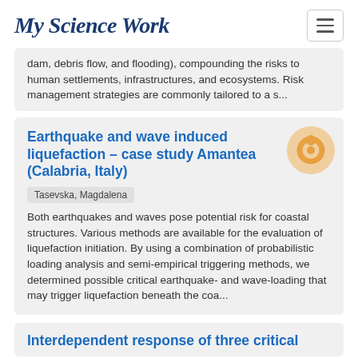My Science Work
dam, debris flow, and flooding), compounding the risks to human settlements, infrastructures, and ecosystems. Risk management strategies are commonly tailored to a s...
Earthquake and wave induced liquefaction – case study Amantea (Calabria, Italy)
Tasevska, Magdalena
Both earthquakes and waves pose potential risk for coastal structures. Various methods are available for the evaluation of liquefaction initiation. By using a combination of probabilistic loading analysis and semi-empirical triggering methods, we determined possible critical earthquake- and wave-loading that may trigger liquefaction beneath the coa...
Interdependent response of three critical